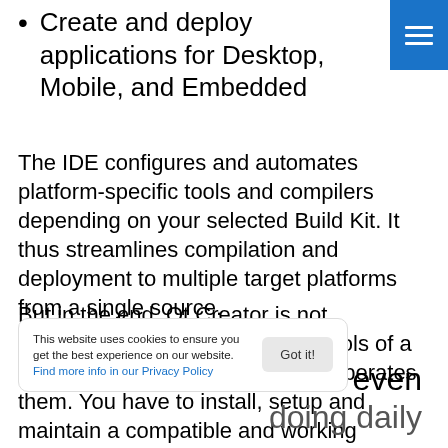Create and deploy applications for Desktop, Mobile, and Embedded
The IDE configures and automates platform-specific tools and compilers depending on your selected Build Kit. It thus streamlines compilation and deployment to multiple target platforms from a single source.
But in the end, Qt Creator is not responsible for the actual build tools of a certain target platform. It simply operates them. You have to install, setup and maintain a compatible and working configuration yourself.
This website uses cookies to ensure you get the best experience on our website. Find more info in our Privacy Policy
is even doing daily